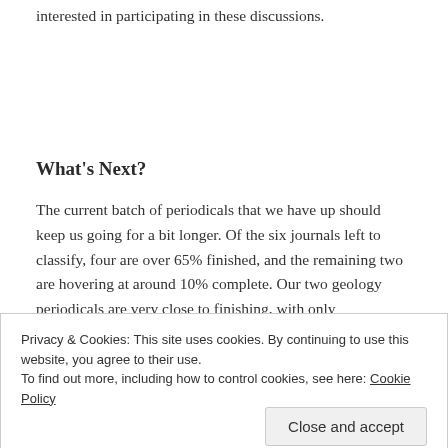interested in participating in these discussions.
What’s Next?
The current batch of periodicals that we have up should keep us going for a bit longer. Of the six journals left to classify, four are over 65% finished, and the remaining two are hovering at around 10% complete. Our two geology periodicals are very close to finishing, with only
Privacy & Cookies: This site uses cookies. By continuing to use this website, you agree to their use.
To find out more, including how to control cookies, see here: Cookie Policy
Close and accept